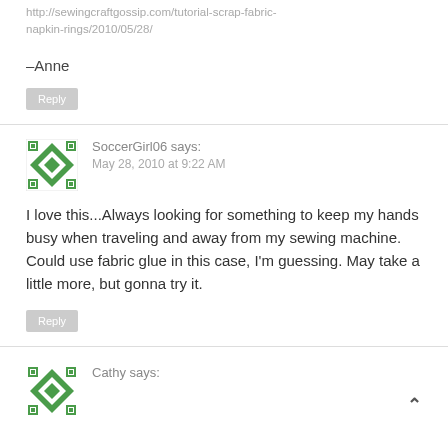http://sewingcraftgossip.com/tutorial-scrap-fabric-napkin-rings/2010/05/28/
–Anne
Reply
SoccerGirl06 says:
May 28, 2010 at 9:22 AM
I love this...Always looking for something to keep my hands busy when traveling and away from my sewing machine. Could use fabric glue in this case, I'm guessing. May take a little more, but gonna try it.
Reply
Cathy says: